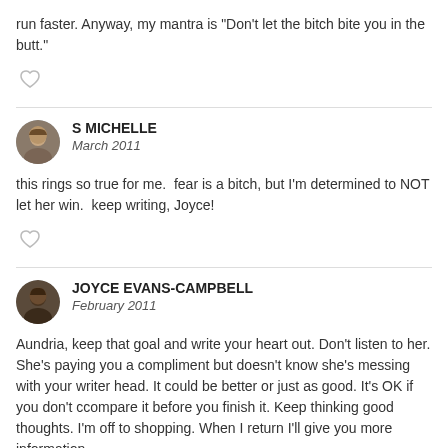run faster. Anyway, my mantra is "Don't let the bitch bite you in the butt."
S MICHELLE
March 2011
this rings so true for me.  fear is a bitch, but I'm determined to NOT let her win.  keep writing, Joyce!
JOYCE EVANS-CAMPBELL
February 2011
Aundria, keep that goal and write your heart out. Don't listen to her. She's paying you a compliment but doesn't know she's messing with your writer head. It could be better or just as good. It's OK if you don't ccompare it before you finish it. Keep thinking good thoughts. I'm off to shopping. When I return I'll give you more information